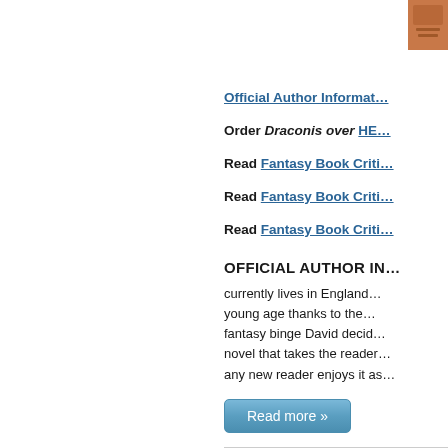[Figure (photo): Partial photo in top-right corner, appears to be a person or book cover]
Official Author Informat…
Order Draconis over  HE…
Read Fantasy Book Criti…
Read Fantasy Book Criti…
Read Fantasy Book Criti…
OFFICIAL AUTHOR IN…
currently lives in England… young age thanks to the… fantasy binge David decid… novel that takes the reader… any new reader enjoys it as…
Read more »
12:00 AM | Posted by T…
Labels: book review, David…
Tuesday, March 1, 2022